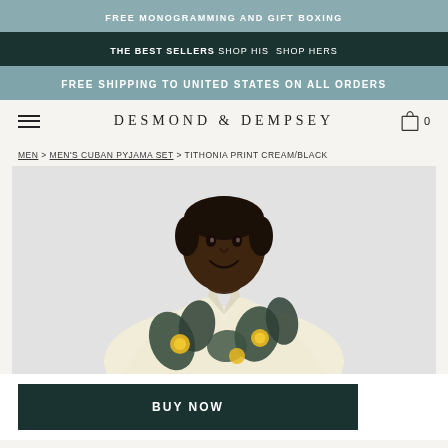FREE MONOGRAMMING AND GIFT BOXING
THE BEST SELLERS SHOP HIS SHOP HERS
FREE SHIPPING TO UNITED STATES ON ALL ORDERS
DESMOND & DEMPSEY
MEN > MEN'S CUBAN PYJAMA SET > TITHONIA PRINT CREAM/BLACK
[Figure (photo): Man wearing a cream and black floral print Cuban collar pyjama shirt (Tithonia Print) against a light grey background, smiling, upper body visible]
BUY NOW